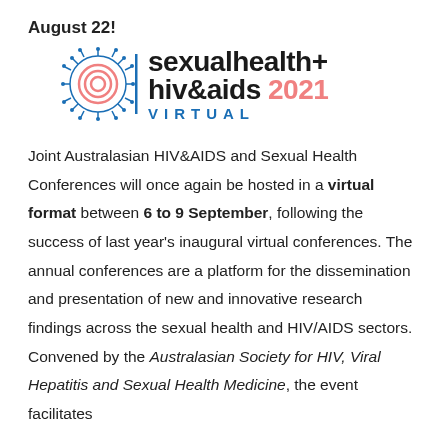August 22!
[Figure (logo): Sexual Health + HIV & AIDS 2021 Virtual conference logo with circular virus/cell graphic in blue and pink on the left, bold black text 'sexualhealth+ hiv&aids 2021' with '2021' in pink, and 'VIRTUAL' in blue spaced letters below]
Joint Australasian HIV&AIDS and Sexual Health Conferences will once again be hosted in a virtual format between 6 to 9 September, following the success of last year's inaugural virtual conferences. The annual conferences are a platform for the dissemination and presentation of new and innovative research findings across the sexual health and HIV/AIDS sectors. Convened by the Australasian Society for HIV, Viral Hepatitis and Sexual Health Medicine, the event facilitates